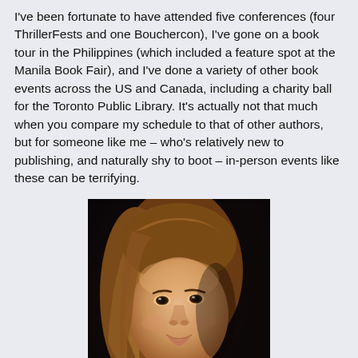I've been fortunate to have attended five conferences (four ThrillerFests and one Bouchercon), I've gone on a book tour in the Philippines (which included a feature spot at the Manila Book Fair), and I've done a variety of other book events across the US and Canada, including a charity ball for the Toronto Public Library. It's actually not that much when you compare my schedule to that of other authors, but for someone like me – who's relatively new to publishing, and naturally shy to boot – in-person events like these can be terrifying.
[Figure (photo): Portrait photo of a young woman with long brown hair, smiling slightly, wearing a teal/turquoise top, against a dark background.]
For starters, the other authors I meet at these events seem